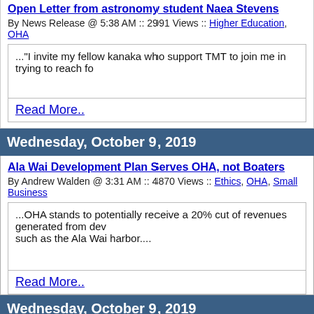Open Letter from astronomy student Naea Stevens
By News Release @ 5:38 AM :: 2991 Views :: Higher Education, OHA
..."I invite my fellow kanaka who support TMT to join me in trying to reach fo
Read More..
Wednesday, October 9, 2019
Ala Wai Development Plan Serves OHA, not Boaters
By Andrew Walden @ 3:31 AM :: 4870 Views :: Ethics, OHA, Small Business
...OHA stands to potentially receive a 20% cut of revenues generated from dev such as the Ala Wai harbor....
Read More..
Wednesday, October 9, 2019
UH Regents to Discuss Maunakea Rules at UH Hilo
By News Release @ 1:21 AM :: 3997 Views :: Hawaii County, Greenmail, High
...The location of the University of Hawai‘i Board of Regents decision-making administrative rules for UH managed lands on Maunakea, scheduled for Nove